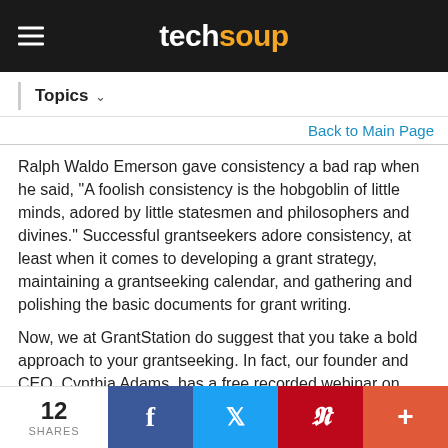techsoup
Topics
Back to Main Page
Ralph Waldo Emerson gave consistency a bad rap when he said, "A foolish consistency is the hobgoblin of little minds, adored by little statesmen and philosophers and divines." Successful grantseekers adore consistency, at least when it comes to developing a grant strategy, maintaining a grantseeking calendar, and gathering and polishing the basic documents for grant writing.
Now, we at GrantStation do suggest that you take a bold approach to your grantseeking. In fact, our founder and CEO, Cynthia Adams, has a free recorded webinar on how grantseeking has changed over the past several years [Note: no longer available]. She states that funders are looking for those organizations that demonstrate
12 SHARES